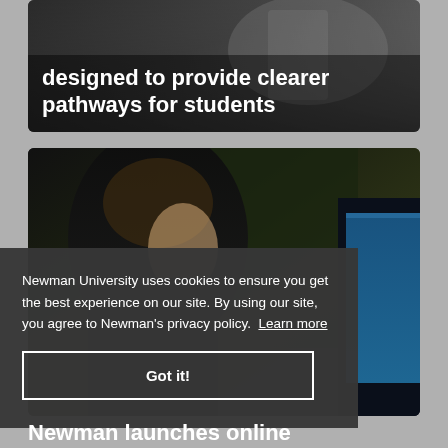[Figure (photo): Image card at the top showing a blurred background (appears to be a classroom/lab setting) with bold white text overlay: 'designed to provide clearer pathways for students']
designed to provide clearer pathways for students
[Figure (photo): Photo of a student (blonde female) looking down, studying at a computer, with a dark green/black background and a blue monitor screen visible on the right side]
Newman University uses cookies to ensure you get the best experience on our site. By using our site, you agree to Newman's privacy policy. Learn more
Got it!
Newman launches online